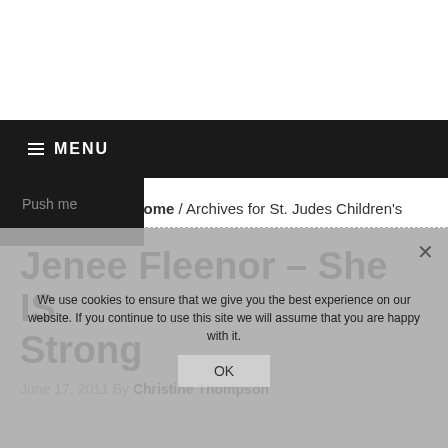MENU
Push me | Home / Archives for St. Judes Children's
Jenee Fleenor – She IS Strong
June 17, 2011 By Christine Thompson
We use cookies to ensure that we give you the best experience on our website. If you continue to use this site we will assume that you are happy with it.
OK